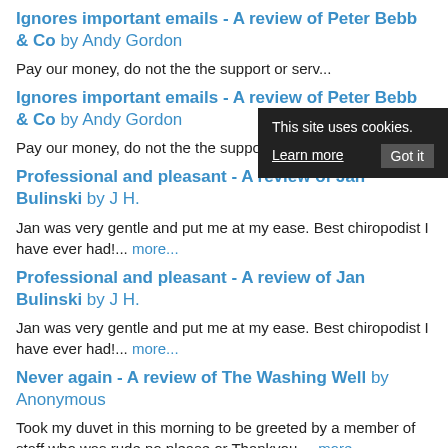Ignores important emails - A review of Peter Bebb & Co by Andy Gordon
Pay our money, do not the the support or serv...
Ignores important emails - A review of Peter Bebb & Co by Andy Gordon
Pay our money, do not the the support or service.... more...
Professional and pleasant - A review of Jan Bulinski by J H.
Jan was very gentle and put me at my ease. Best chiropodist I have ever had!... more...
Professional and pleasant - A review of Jan Bulinski by J H.
Jan was very gentle and put me at my ease. Best chiropodist I have ever had!... more...
Never again - A review of The Washing Well by Anonymous
Took my duvet in this morning to be greeted by a member of staff who was rude no please or Thankyou.... more...